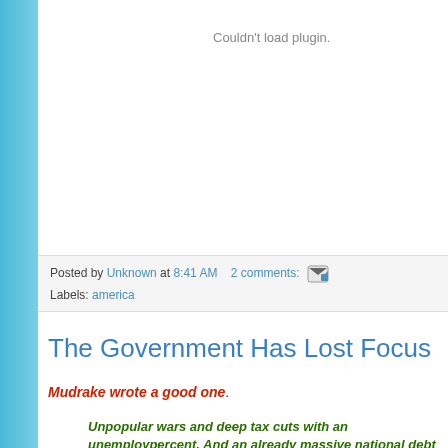Couldn't load plugin.
Posted by Unknown at 8:41 AM   2 comments:
Labels: america
The Government Has Lost Focus
Mudrake wrote a good one.
Unpopular wars and deep tax cuts with an unemployment... percent. And an already massive national debt as we... Congress. What has world history taught us about t...